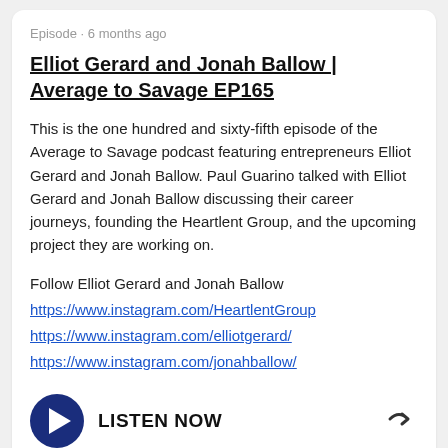Episode · 6 months ago
Elliot Gerard and Jonah Ballow | Average to Savage EP165
This is the one hundred and sixty-fifth episode of the Average to Savage podcast featuring entrepreneurs Elliot Gerard and Jonah Ballow. Paul Guarino talked with Elliot Gerard and Jonah Ballow discussing their career journeys, founding the Heartlent Group, and the upcoming project they are working on.
Follow Elliot Gerard and Jonah Ballow
https://www.instagram.com/HeartlentGroup
https://www.instagram.com/elliotgerard/
https://www.instagram.com/jonahballow/
LISTEN NOW
Episode · 7 months ago